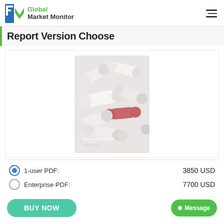[Figure (logo): Global Market Monitor logo with green M icon and company name]
Report Version Choose
[Figure (photo): Scattered white pharmaceutical pills/tablets on a light background with red accent, labeled 'Market Research medical device']
1-user PDF: 3850 USD
Enterprise PDF: 7700 USD
BUY NOW
Message